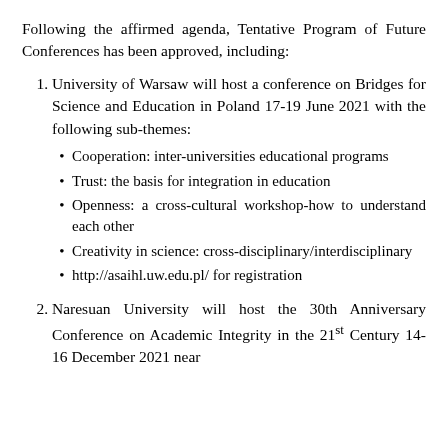Following the affirmed agenda, Tentative Program of Future Conferences has been approved, including:
1. University of Warsaw will host a conference on Bridges for Science and Education in Poland 17-19 June 2021 with the following sub-themes:
• Cooperation: inter-universities educational programs
• Trust: the basis for integration in education
• Openness: a cross-cultural workshop-how to understand each other
• Creativity in science: cross-disciplinary/interdisciplinary
• http://asaihl.uw.edu.pl/ for registration
2. Naresuan University will host the 30th Anniversary Conference on Academic Integrity in the 21st Century 14-16 December 2021 near